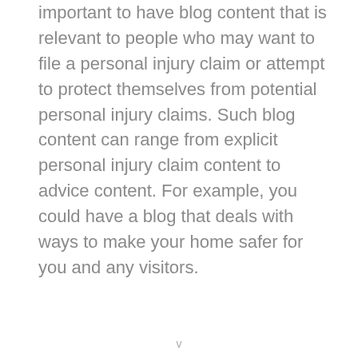important to have blog content that is relevant to people who may want to file a personal injury claim or attempt to protect themselves from potential personal injury claims. Such blog content can range from explicit personal injury claim content to advice content. For example, you could have a blog that deals with ways to make your home safer for you and any visitors.
v